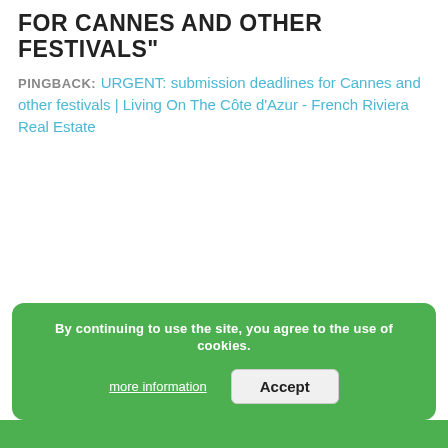FOR CANNES AND OTHER FESTIVALS"
PINGBACK: URGENT: submission deadlines for Cannes and other festivals | Living On The Côte d'Azur - French Riviera Real Estate
By continuing to use the site, you agree to the use of cookies.
more information   Accept